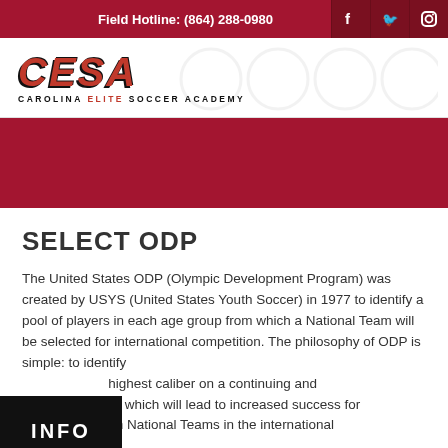Field Hotline: (864) 288-0980
[Figure (logo): CESA Carolina Elite Soccer Academy logo with bold red italic CESA lettering and subtitle text]
[Figure (other): Red banner/hero image area]
SELECT ODP
The United States ODP (Olympic Development Program) was created by USYS (United States Youth Soccer) in 1977 to identify a pool of players in each age group from which a National Team will be selected for international competition. The philosophy of ODP is simple: to identify highest caliber on a continuing and sis, which will lead to increased success for ton National Teams in the international